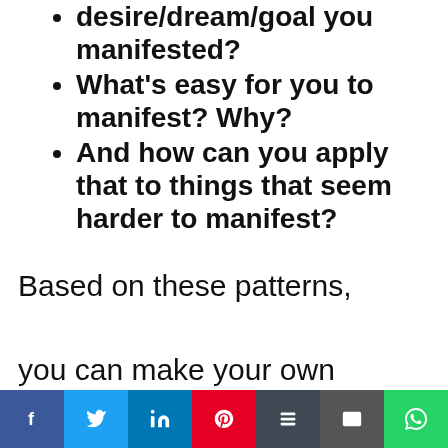desire/dream/goal you manifested?
What's easy for you to manifest? Why?
And how can you apply that to things that seem harder to manifest?
Based on these patterns, you can make your own top 4 or 3 or 5 or however
Social share bar: Facebook, Twitter, LinkedIn, Pinterest, Buffer, Email, WhatsApp